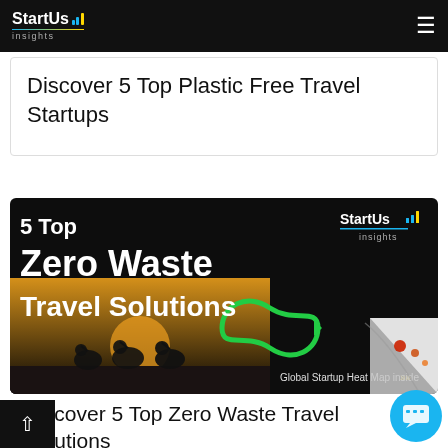StartUs insights
Discover 5 Top Plastic Free Travel Startups
[Figure (infographic): Dark banner graphic with text '5 Top Zero Waste Travel Solutions' and StartUs Insights logo, cyclists silhouette, infinity/recycling symbol, and a peeled corner showing a Global Startup Heat Map inside, with arrow chevrons and text 'Global Startup Heat Map inside']
Discover 5 Top Zero Waste Travel Solutions